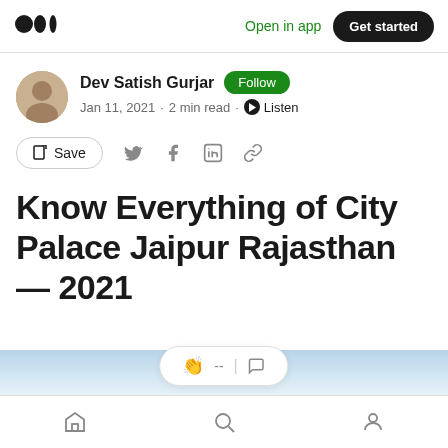Open in app  Get started
Dev Satish Gurjar  Follow
Jan 11, 2021 · 2 min read · Listen
Save
Know Everything of City Palace Jaipur Rajasthan — 2021